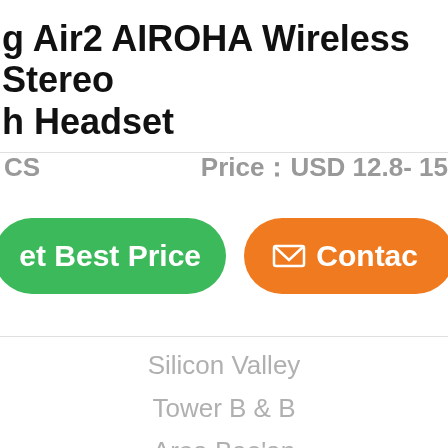g Air2 AIROHA Wireless Stereo h Headset
CS   Price：USD 12.8- 15
et Best Price
Contac
Silicon Valley
Tower B & B
Area Bao'an
Avenue No.5010